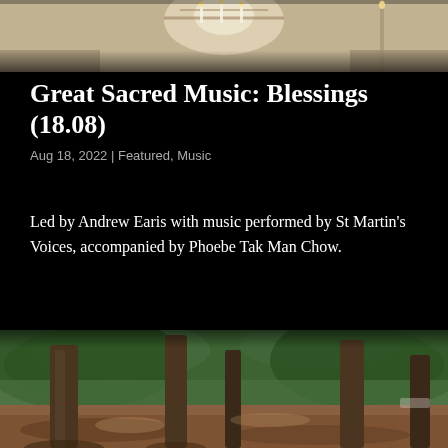[Figure (photo): Interior of a church with chandelier and candles, top portion cropped]
Great Sacred Music: Blessings (18.08)
Aug 18, 2022 | Featured, Music
Led by Andrew Earis with music performed by St Martin's Voices, accompanied by Phoebe Tak Man Chow.
[Figure (photo): Park scene with tall trees and dappled light on the ground]